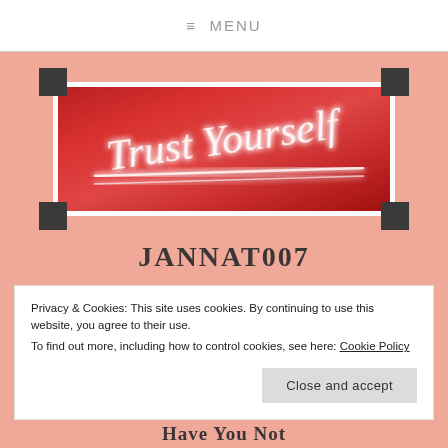≡ MENU
[Figure (photo): Neon sign reading 'Trust Yourself' in white cursive neon lights on a red background, displayed in a white-bordered frame with dark corner brackets]
JANNAT007
Privacy & Cookies: This site uses cookies. By continuing to use this website, you agree to their use.
To find out more, including how to control cookies, see here: Cookie Policy
Close and accept
Have You Not